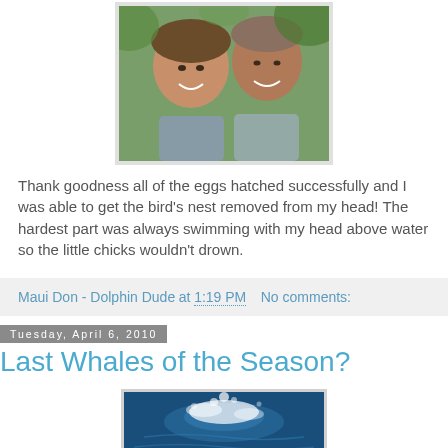[Figure (photo): Two smiling men outdoors with tropical green foliage in the background]
Thank goodness all of the eggs hatched successfully and I was able to get the bird's nest removed from my head! The hardest part was always swimming with my head above water so the little chicks wouldn't drown.
Maui Don - Dolphin Dude at 1:19 PM    No comments:
Tuesday, April 6, 2010
Last Whales of the Season?
[Figure (photo): Aerial or close-up view of ocean water with splashing, likely a whale or dolphin]